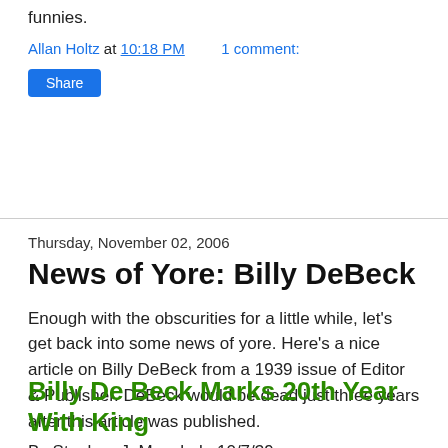funnies.
Allan Holtz at 10:18 PM    1 comment:
Share
Thursday, November 02, 2006
News of Yore: Billy DeBeck
Enough with the obscurities for a little while, let's get back into some news of yore. Here's a nice article on Billy DeBeck from a 1939 issue of Editor & Publisher. DeBeck would be dead just three years after this article was published.
Billy De Beck Marks 20th Year With King
By Stephen J. Monchak, 10/7/39
On October 6, 1919, King Features Syndicate brought Billy De Beck, then a cartoonist for the newly merged Chicago Herald & Examiner, to New York, gave him a contract and told him to start a new comic strip. Thus was born "Barney Google," one of the most famous comic strips that has ever graced the funnies.